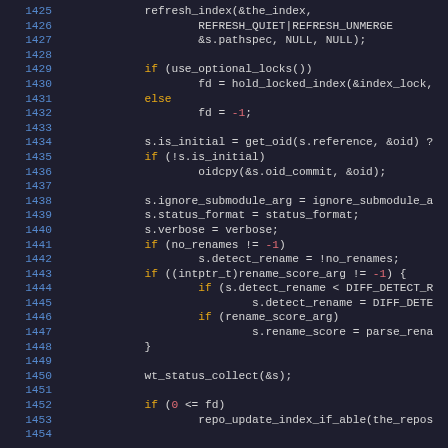[Figure (screenshot): Source code listing in a dark-themed code editor showing C code lines 1425-1454. Line numbers in blue on the left, keywords in orange, numbers in red/orange, regular code in light gray on dark background.]